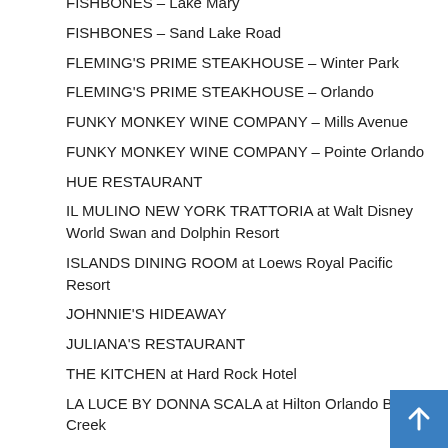FISHBONES – Lake Mary
FISHBONES – Sand Lake Road
FLEMING'S PRIME STEAKHOUSE – Winter Park
FLEMING'S PRIME STEAKHOUSE – Orlando
FUNKY MONKEY WINE COMPANY – Mills Avenue
FUNKY MONKEY WINE COMPANY – Pointe Orlando
HUE RESTAURANT
IL MULINO NEW YORK TRATTORIA at Walt Disney World Swan and Dolphin Resort
ISLANDS DINING ROOM at Loews Royal Pacific Resort
JOHNNIE'S HIDEAWAY
JULIANA'S RESTAURANT
THE KITCHEN at Hard Rock Hotel
LA LUCE BY DONNA SCALA at Hilton Orlando Bonnet Creek
LA NUOVA CUCINA